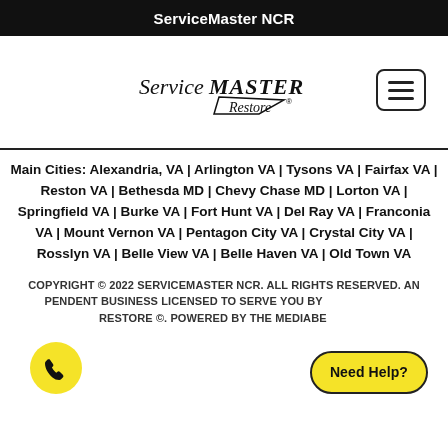ServiceMaster NCR
[Figure (logo): ServiceMaster Restore logo with italic serif text and arrow/diamond shape]
Main Cities: Alexandria, VA | Arlington VA | Tysons VA | Fairfax VA | Reston VA | Bethesda MD | Chevy Chase MD | Lorton VA | Springfield VA | Burke VA | Fort Hunt VA | Del Ray VA | Franconia VA | Mount Vernon VA | Pentagon City VA | Crystal City VA | Rosslyn VA | Belle View VA | Belle Haven VA | Old Town VA
COPYRIGHT © 2022 SERVICEMASTER NCR. ALL RIGHTS RESERVED. AN INDEPENDENT BUSINESS LICENSED TO SERVE YOU BY SERVICEMASTER RESTORE ©. POWERED BY THE MEDIABEAST